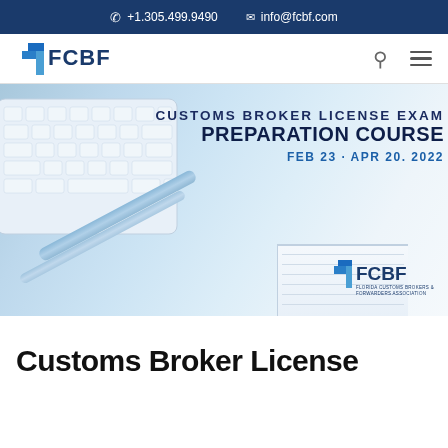+1.305.499.9490   info@fcbf.com
[Figure (logo): FCBF Florida Customs Brokers & Forwarders Association logo with blue chevron/arrow icon]
[Figure (photo): Hero banner image showing a white keyboard, blue metallic pens, and a notebook on a light blue background with text overlay: CUSTOMS BROKER LICENSE EXAM PREPARATION COURSE FEB 23 - APR 20. 2022, and FCBF logo]
Customs Broker License